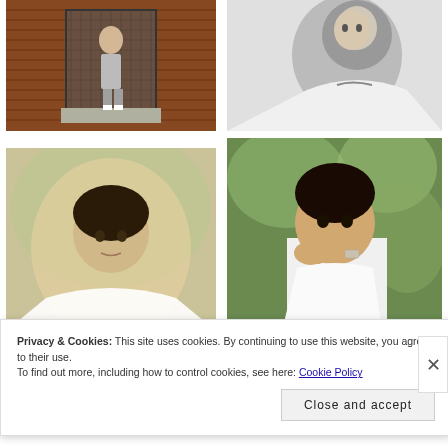[Figure (photo): Young man in grey trousers and white sneakers standing in front of a brick wall with a metal gate]
[Figure (photo): Black and white close-up portrait of a man looking down, wearing a white shirt]
[Figure (photo): Young man with curly hair leaning forward, blurred background]
[Figure (photo): Young man in white shirt with hand near face, looking serious, green bokeh background]
Privacy & Cookies: This site uses cookies. By continuing to use this website, you agree to their use.
To find out more, including how to control cookies, see here: Cookie Policy
Close and accept